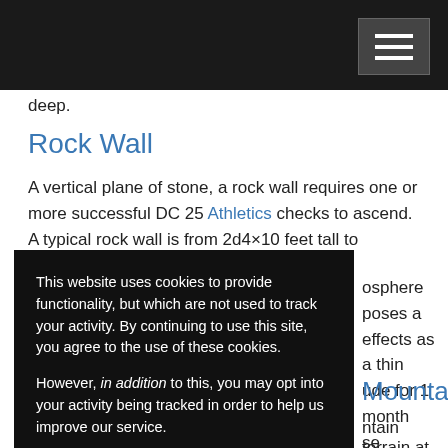[Navigation bar with hamburger menu icon]
deep.
Rock Wall
A vertical plane of stone, a rock wall requires one or more successful DC 25 Athletics checks to ascend. A typical rock wall is from 2d4×10 feet tall to 2d8×10 feet tall.
osphere poses a effects as a thin ude for 1 month se penalties, but onths away from pon returning.
This website uses cookies to provide functionality, but which are not used to track your activity. By continuing to use this site, you agree to the use of these cookies.

However, in addition to this, you may opt into your activity being tracked in order to help us improve our service.

For more information, please click here
Mountains
ntain terrain at